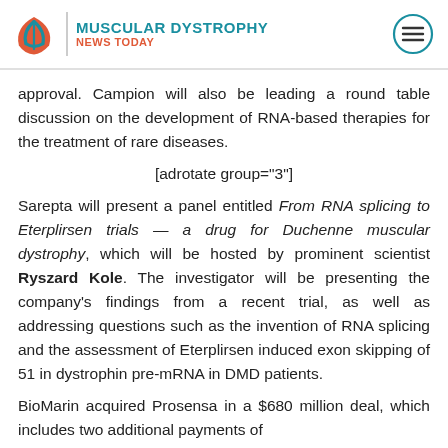MUSCULAR DYSTROPHY NEWS TODAY
approval. Campion will also be leading a round table discussion on the development of RNA-based therapies for the treatment of rare diseases.
[adrotate group="3"]
Sarepta will present a panel entitled From RNA splicing to Eterplirsen trials — a drug for Duchenne muscular dystrophy, which will be hosted by prominent scientist Ryszard Kole. The investigator will be presenting the company's findings from a recent trial, as well as addressing questions such as the invention of RNA splicing and the assessment of Eterplirsen induced exon skipping of 51 in dystrophin pre-mRNA in DMD patients.
BioMarin acquired Prosensa in a $680 million deal, which includes two additional payments of approximately $80 million on discovery and...